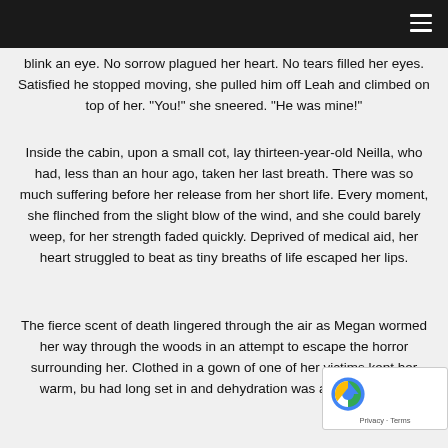blink an eye. No sorrow plagued her heart. No tears filled her eyes. Satisfied he stopped moving, she pulled him off Leah and climbed on top of her. "You!" she sneered. "He was mine!"
Inside the cabin, upon a small cot, lay thirteen-year-old Neilla, who had, less than an hour ago, taken her last breath. There was so much suffering before her release from her short life. Every moment, she flinched from the slight blow of the wind, and she could barely weep, for her strength faded quickly. Deprived of medical aid, her heart struggled to beat as tiny breaths of life escaped her lips.
The fierce scent of death lingered through the air as Megan wormed her way through the woods in an attempt to escape the horror surrounding her. Clothed in a gown of one of her victims kept her warm, bu had long set in and dehydration was an added peril.